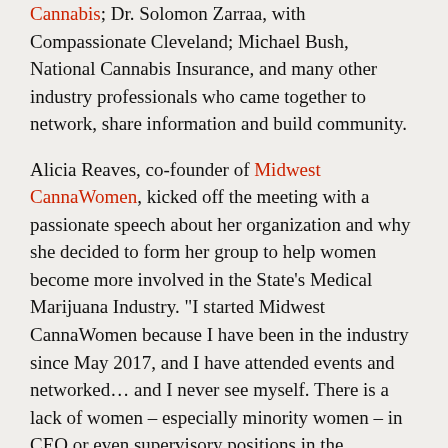Cannabis; Dr. Solomon Zarraa, with Compassionate Cleveland; Michael Bush, National Cannabis Insurance, and many other industry professionals who came together to network, share information and build community.
Alicia Reaves, co-founder of Midwest CannaWomen, kicked off the meeting with a passionate speech about her organization and why she decided to form her group to help women become more involved in the State's Medical Marijuana Industry. "I started Midwest CannaWomen because I have been in the industry since May 2017, and I have attended events and networked… and I never see myself. There is a lack of women – especially minority women – in CEO or even supervisory positions in the Cannabis Industry. I want to provide opportunities and resources for all women, so that they may have a place in the industry." She is definitely becoming a voice to be heard!